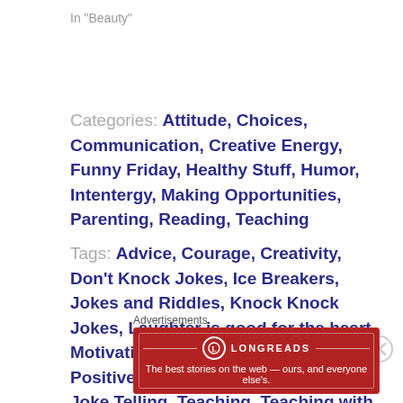In "Beauty"
Categories: Attitude, Choices, Communication, Creative Energy, Funny Friday, Healthy Stuff, Humor, Intentergy, Making Opportunities, Parenting, Reading, Teaching
Tags: Advice, Courage, Creativity, Don't Knock Jokes, Ice Breakers, Jokes and Riddles, Knock Knock Jokes, Laughter is good for the heart, Motivation, Opportunities, Parenting, Positive, Public Speaking, Teach Joke Telling, Teaching, Teaching with Humor, Tell me a joke, The power of laughter, What will you teach them?
Advertisements
[Figure (other): Longreads advertisement banner: red background with Longreads logo and tagline 'The best stories on the web — ours, and everyone else's.']